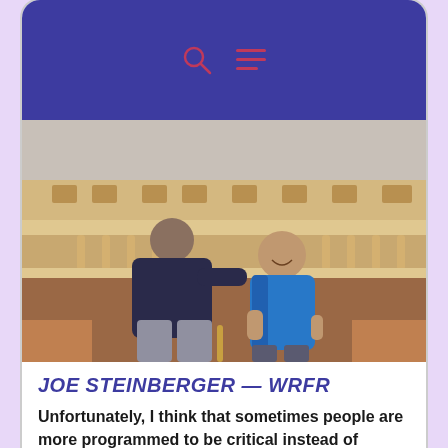[Figure (screenshot): Mobile website screenshot showing a blue header with search and menu icons]
[Figure (photo): Two people standing in front of an ornate building with balustrades — an adult in a dark jacket and a child in a bright blue jacket, smiling]
JOE STEINBERGER — WRFR
Unfortunately, I think that sometimes people are more programmed to be critical instead of praising. I want to thank Joe Steinberger and Stephen Carroll for creating WRFR. This station represents the best of who we, as a